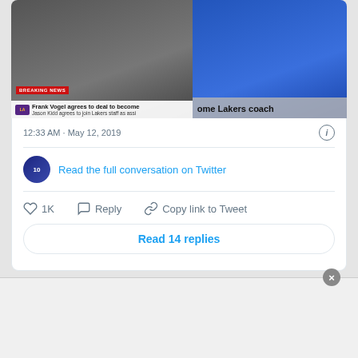[Figure (screenshot): Breaking news TV screenshot showing Frank Vogel agrees to deal to become Lakers coach, with Jason Kidd joining as assistant. Split image with TV broadcast on left and person in blue on right.]
12:33 AM · May 12, 2019
Read the full conversation on Twitter
1K
Reply
Copy link to Tweet
Read 14 replies
Bunkie Perkins